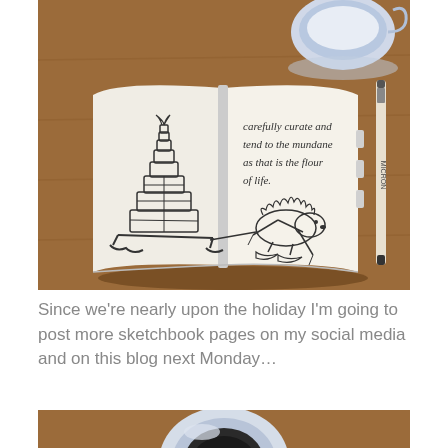[Figure (photo): A sketchbook open on a wooden table showing an ink drawing of a hedgehog on skis pulling a sled stacked with Christmas presents in a pyramid shape. Handwritten text on the right page reads: 'carefully curate and tend to the mundane as that is the flour of life.' A pen (Micron) and a blue and white teacup are visible beside the sketchbook.]
Since we're nearly upon the holiday I'm going to post more sketchbook pages on my social media and on this blog next Monday…
[Figure (photo): Bottom portion of a blue and white ceramic cup/mug viewed from above on a wooden table, partially visible at the bottom of the page.]